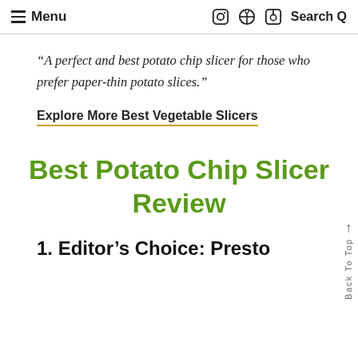≡ Menu | Social icons (Facebook, Instagram, Pinterest) | Search Q
“A perfect and best potato chip slicer for those who prefer paper-thin potato slices.”
Explore More Best Vegetable Slicers
Best Potato Chip Slicer Review
1. Editor’s Choice: Presto